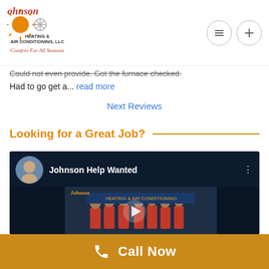[Figure (logo): Johnson Heating & Air Conditioning, LLC logo with sun/snowflake icon and italic tagline 'Comfort For All Seasons']
Could not even provide. Got the furnace checked.
Had to go get a... read more
Next Reviews
Looking for a Great Job?
[Figure (screenshot): YouTube video thumbnail titled 'Johnson Help Wanted' showing a group of people in red shirts standing in front of a Johnson Heating & Air Conditioning banner, with a play button in the center]
Call Now